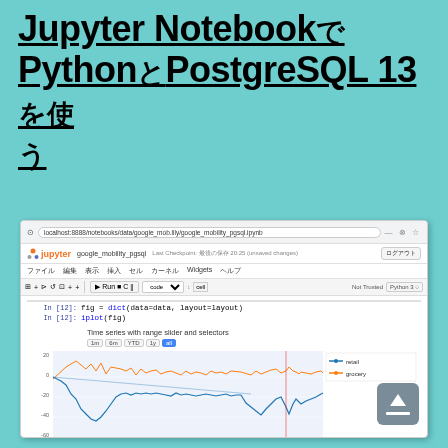Jupyter NotebookでPythonとPostgreSQL 13を使う
[Figure (screenshot): Screenshot of a Jupyter Notebook in a browser showing a time series chart with range slider and selectors, plotting 'retail' and 'grocery' data series from Mar 2020 to Mar 2021. The notebook is named google_mobility_pgsql. Two code cells are visible: 'fig = dict(data=data, layout=layout)' and 'iplot(fig)'. The chart is titled 'Time series with range slider and selectors'.]